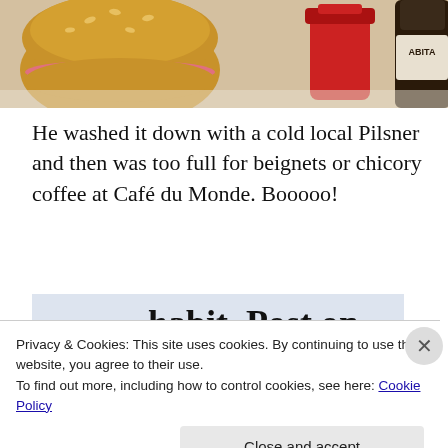[Figure (photo): Top portion of a photo showing a hamburger/sandwich bun, a red container, and a dark bottle on a table.]
He washed it down with a cold local Pilsner and then was too full for beignets or chicory coffee at Café du Monde. Booooo!
[Figure (screenshot): WordPress app advertisement showing text 'habit. Post on the go.' with 'GET THE APP' call to action and WordPress logo icon.]
Privacy & Cookies: This site uses cookies. By continuing to use this website, you agree to their use.
To find out more, including how to control cookies, see here: Cookie Policy
Close and accept